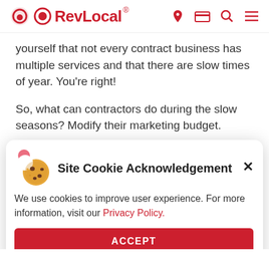RevLocal® [navigation icons: location, card, search, menu]
yourself that not every contract business has multiple services and that there are slow times of year. You're right!
So, what can contractors do during the slow seasons? Modify their marketing budget.
Site Cookie Acknowledgement
We use cookies to improve user experience. For more information, visit our Privacy Policy.
[ACCEPT button]